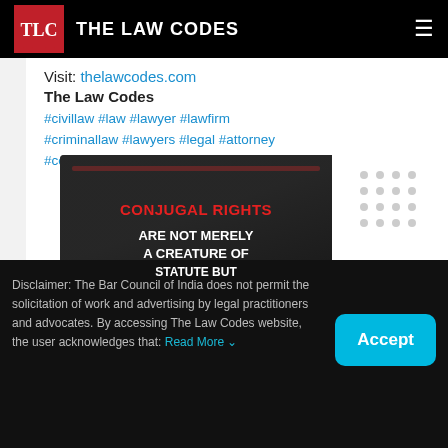THE LAW CODES
Visit: thelawcodes.com
The Law Codes
#civillaw #law #lawyer #lawfirm #criminallaw #lawyers #legal #attorney #court #lawfirminchandigarh
[Figure (photo): Dark background image with text overlay: 'CONJUGAL RIGHTS ARE NOT MERELY A CREATURE OF STATUTE BUT' in red and white bold uppercase text, with a red bar accent at top and dots pattern overlay]
Disclaimer: The Bar Council of India does not permit the solicitation of work and advertising by legal practitioners and advocates. By accessing The Law Codes website, the user acknowledges that: Read More